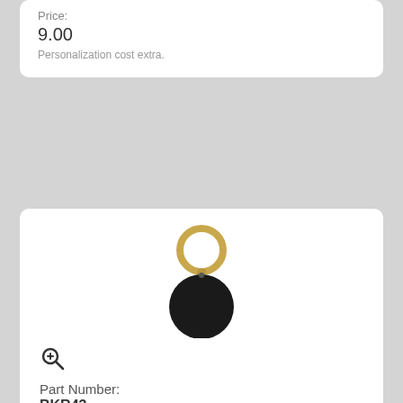Price:
9.00
Personalization cost extra.
[Figure (photo): Round black brass keychain with gold ring at top, black circular disc pendant]
Part Number:
BKR43
Description:
Round Black Brass Keychain
Size:
1 1/2"
Price:
9.00